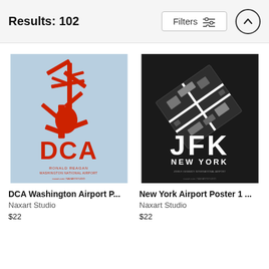Results: 102
[Figure (screenshot): DCA Washington Airport poster – light blue background with red airport diagram and DCA text]
DCA Washington Airport P...
Naxart Studio
$22
[Figure (screenshot): New York JFK Airport poster – dark/black background with grayscale airport diagram and JFK NEW YORK text]
New York Airport Poster 1 ...
Naxart Studio
$22